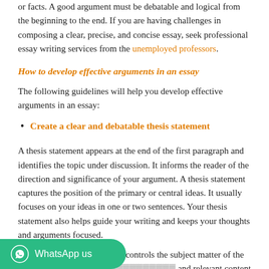or facts. A good argument must be debatable and logical from the beginning to the end. If you are having challenges in composing a clear, precise, and concise essay, seek professional essay writing services from the unemployed professors.
How to develop effective arguments in an essay
The following guidelines will help you develop effective arguments in an essay:
Create a clear and debatable thesis statement
A thesis statement appears at the end of the first paragraph and identifies the topic under discussion. It informs the reader of the direction and significance of your argument. A thesis statement captures the position of the primary or central ideas. It usually focuses on your ideas in one or two sentences. Your thesis statement also helps guide your writing and keeps your thoughts and arguments focused.
An excellent thesis statement controls the subject matter of the and relevant content to the reader. An effective thesis statement should be clear, debatable, specific